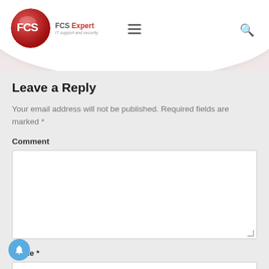[Figure (logo): FCS Expert IT support and security logo with red circular emblem and navigation bar]
Leave a Reply
Your email address will not be published. Required fields are marked *
Comment
Name *